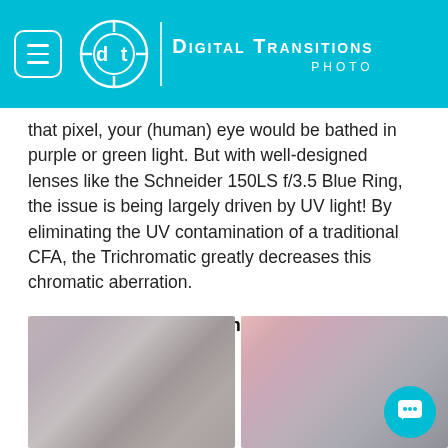Digital Transitions Photo
that pixel, your (human) eye would be bathed in purple or green light. But with well-designed lenses like the Schneider 150LS f/3.5 Blue Ring, the issue is being largely driven by UV light! By eliminating the UV contamination of a traditional CFA, the Trichromatic greatly decreases this chromatic aberration.
Better Handling of Tech Camera Movements
[Figure (photo): Left photo showing a blurry gradient image with muted purple-gray and brownish tones]
[Figure (photo): Right photo showing a blurry gradient image with pink, rose, and gray tones]